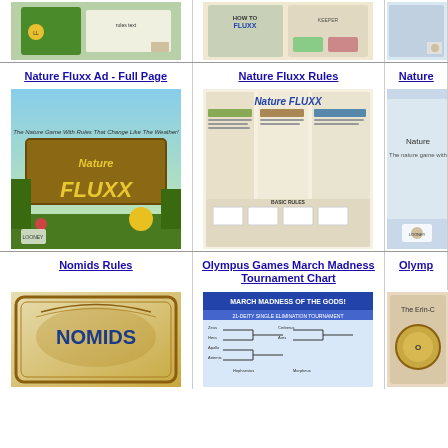[Figure (illustration): Looney Labs game ad thumbnail - top row left]
[Figure (illustration): Nature Fluxx rules sheet thumbnail - top row center]
[Figure (illustration): Partial image - top row right]
Nature Fluxx Ad - Full Page
Nature Fluxx Rules
Nature
[Figure (illustration): Nature Fluxx game box art - The Nature Game With Rules That Change Like The Weather]
[Figure (illustration): Nature Fluxx rules sheet showing how to play]
[Figure (illustration): Partial Nature card image]
Nomids Rules
Olympus Games March Madness Tournament Chart
Olymp
[Figure (illustration): Nomids game card cover]
[Figure (illustration): March Madness of the Gods! 21-Deity Single Elimination Tournament chart]
[Figure (illustration): The Erin-C game partial image]